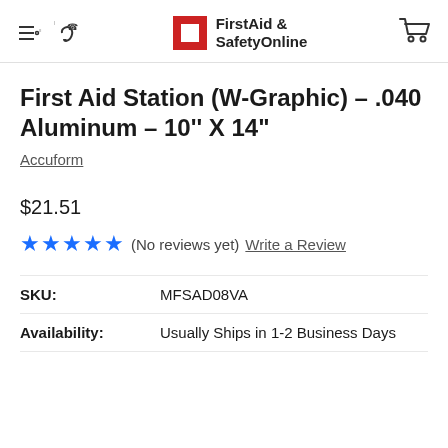FirstAid & SafetyOnline
First Aid Station (W-Graphic) - .040 Aluminum - 10'' X 14"
Accuform
$21.51
★★★★★ (No reviews yet) Write a Review
| Field | Value |
| --- | --- |
| SKU: | MFSAD08VA |
| Availability: | Usually Ships in 1-2 Business Days |